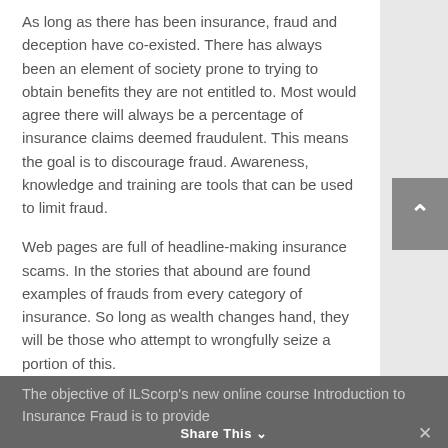As long as there has been insurance, fraud and deception have co-existed. There has always been an element of society prone to trying to obtain benefits they are not entitled to. Most would agree there will always be a percentage of insurance claims deemed fraudulent. This means the goal is to discourage fraud. Awareness, knowledge and training are tools that can be used to limit fraud.
Web pages are full of headline-making insurance scams. In the stories that abound are found examples of frauds from every category of insurance. So long as wealth changes hand, they will be those who attempt to wrongfully seize a portion of this.
The objective of ILScorp's new online course Introduction to Insurance Fraud is to provide